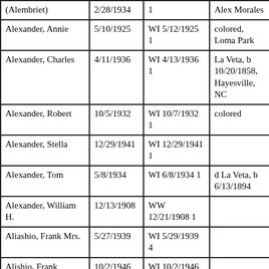| Name | Date | Record | Notes |
| --- | --- | --- | --- |
| (Alembriet) | 2/28/1934 | 1 | Alex Morales |
| Alexander, Annie | 5/10/1925 | WI 5/12/1925 1 | colored, Loma Park |
| Alexander, Charles | 4/11/1936 | WI 4/13/1936 1 | La Veta, b 10/20/1858, Hayesville, NC |
| Alexander, Robert | 10/5/1932 | WI 10/7/1932 1 | colored |
| Alexander, Stella | 12/29/1941 | WI 12/29/1941 1 |  |
| Alexander, Tom | 5/8/1934 | WI 6/8/1934 1 | d La Veta, b 6/13/1894 |
| Alexander, William H. | 12/13/1908 | WW 12/21/1908 1 |  |
| Aliashio, Frank Mrs. | 5/27/1939 | WI 5/29/1939 4 |  |
| Alishio, Frank | 10/2/1946 | WI 10/2/1946 8 |  |
| Allen, Felix | 10/12/1951 | WI 10/15/1951 2 |  |